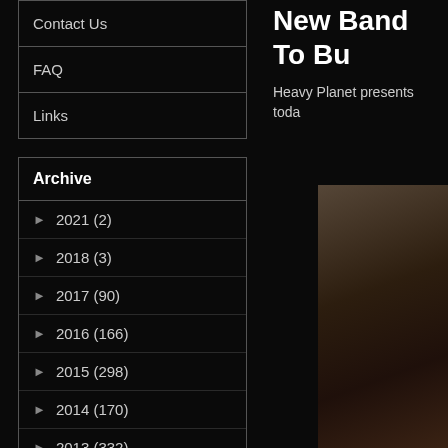Contact Us
FAQ
Links
Archive
► 2021 (2)
► 2018 (3)
► 2017 (90)
► 2016 (166)
► 2015 (298)
► 2014 (170)
► 2013 (332)
▼ 2012 (389)
Dec (29)
Nov (32)
Oct (36)
New Band To Bu
Heavy Planet presents toda
[Figure (photo): Partially visible dark image on right side of page]